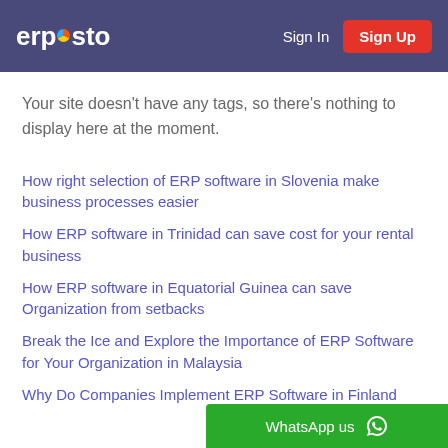ERPOSTO | Sign In | Sign Up
Your site doesn't have any tags, so there's nothing to display here at the moment.
How right selection of ERP software in Slovenia make business processes easier
How ERP software in Trinidad can save cost for your rental business
How ERP software in Equatorial Guinea can save Organization from setbacks
Break the Ice and Explore the Importance of ERP Software for Your Organization in Malaysia
Why Do Companies Implement ERP Software in Finland